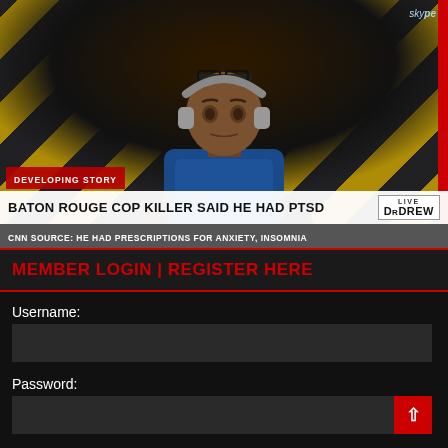[Figure (screenshot): CNN/HLN broadcast screenshot showing a man wearing headphones and glasses on top of his head, appearing via Skype video. Background has yellow and black hazard stripes. Lower-third chyron reads: DEVELOPING STORY / BATON ROUGE COP KILLER SAID HE HAD PTSD / CNN SOURCE: HE HAD PRESCRIPTIONS FOR ANXIETY, INSOMNIA. Live DrDrew badge visible top right of chyron.]
MEMBER LOGIN | REGISTER HERE
Username:
Password: